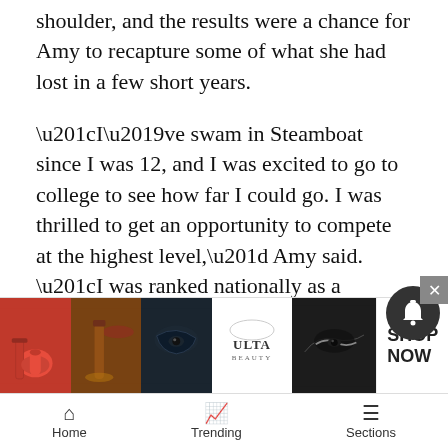shoulder, and the results were a chance for Amy to recapture some of what she had lost in a few short years.
“I’ve swam in Steamboat since I was 12, and I was excited to go to college to see how far I could go. I was thrilled to get an opportunity to compete at the highest level,” Amy said. “I was ranked nationally as a freshman, but after my junior year, I felt like I would never reach my potential.”
But after the national meet, Amy proved she has what it takes. She will return to Colorado Mesa University in the fall to wrap up her final few credits with a year of eligibity left.
“I’m sa[tisfied...] be my [...]
[Figure (screenshot): Advertisement banner for Ulta Beauty showing beauty product images (lipstick, makeup brush, eye makeup) and a SHOP NOW button]
[Figure (screenshot): Mobile bottom navigation bar with Home, Trending, and Sections icons]